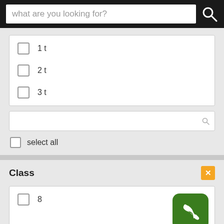what are you looking for?
1 t
2 t
3 t
select all
Class
8